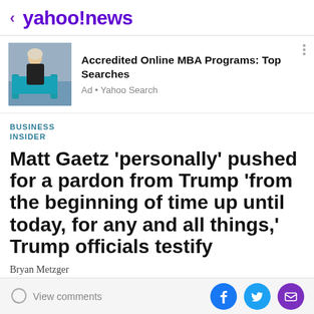< yahoo!news
[Figure (photo): Advertisement banner showing a woman sitting on a teal chair with text 'Accredited Online MBA Programs: Top Searches' and 'Ad • Yahoo Search']
BUSINESS INSIDER
Matt Gaetz 'personally' pushed for a pardon from Trump 'from the beginning of time up until today, for any and all things,' Trump officials testify
Bryan Metzger
View comments